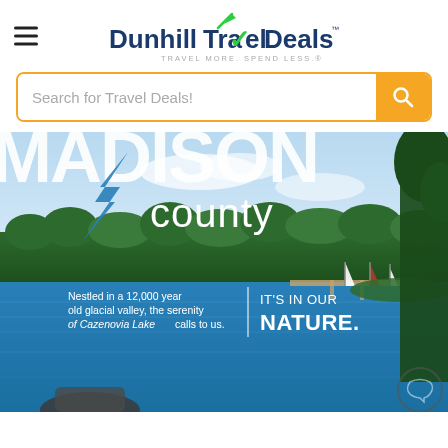[Figure (logo): DunhillTravelDeals logo with airplane icon and tagline TRAVEL MORE. SPEND LESS.]
[Figure (screenshot): Search bar with placeholder text 'Search for Travel Deals!' and orange search button]
[Figure (photo): Madison County travel advertisement photo showing Cazenovia Lake with text overlay: 'Nestled in a 12,000 year old glacial valley, the serenity of Cazenovia Lake calls to us.' and 'IT'S IN OUR NATURE.']